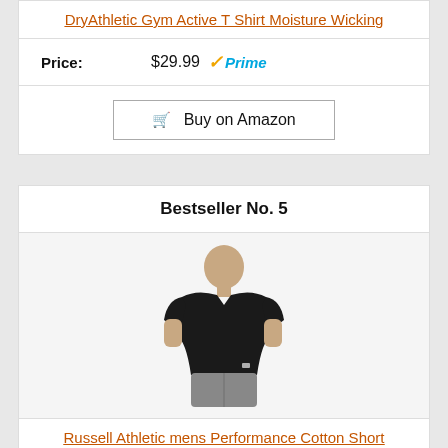DryAthletic Gym Active T Shirt Moisture Wicking
Price: $29.99 Prime
Buy on Amazon
Bestseller No. 5
[Figure (photo): Man wearing black short sleeve athletic t-shirt with gray shorts]
Russell Athletic mens Performance Cotton Short Sleeve T-Shirt, black, XXL